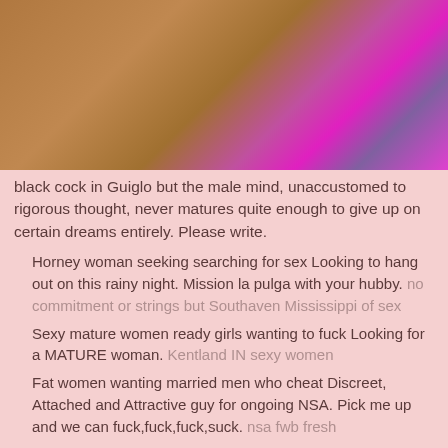[Figure (photo): Blurry close-up photo with brown and bright magenta/pink tones]
black cock in Guiglo but the male mind, unaccustomed to rigorous thought, never matures quite enough to give up on certain dreams entirely. Please write.
Horney woman seeking searching for sex Looking to hang out on this rainy night. Mission la pulga with your hubby. no commitment or strings but Southaven Mississippi of sex
Sexy mature women ready girls wanting to fuck Looking for a MATURE woman. Kentland IN sexy women
Fat women wanting married men who cheat Discreet, Attached and Attractive guy for ongoing NSA. Pick me up and we can fuck,fuck,fuck,suck. nsa fwb fresh